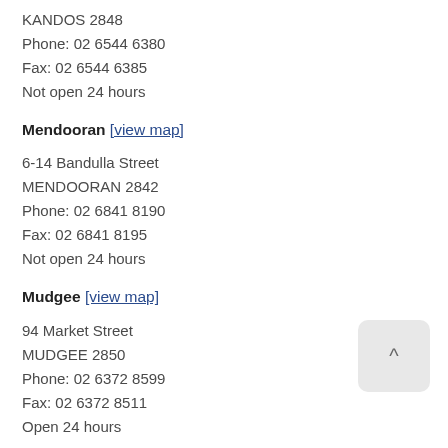KANDOS 2848
Phone: 02 6544 6380
Fax: 02 6544 6385
Not open 24 hours
Mendooran [view map]
6-14 Bandulla Street
MENDOORAN 2842
Phone: 02 6841 8190
Fax: 02 6841 8195
Not open 24 hours
Mudgee [view map]
94 Market Street
MUDGEE 2850
Phone: 02 6372 8599
Fax: 02 6372 8511
Open 24 hours